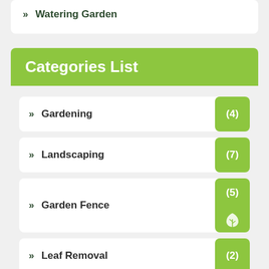>> Watering Garden
Categories List
>> Gardening (4)
>> Landscaping (7)
>> Garden Fence (5)
>> Leaf Removal (2)